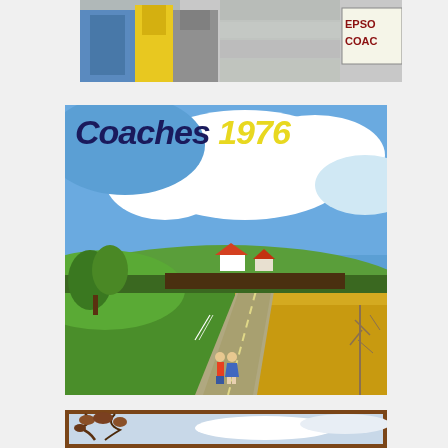[Figure (illustration): Top strip showing partial illustration with a person in yellow and grey coat near a stone wall, and a sign reading 'EPSO COAC']
[Figure (illustration): Main cover illustration for 'Coaches 1976' showing a rural countryside scene with a winding road, green fields, yellow farmland, farmhouses in the distance, blue sky with white clouds, and two children walking along the road. Title text 'Coaches 1976' overlaid at top in dark navy italic and yellow italic.]
[Figure (illustration): Bottom strip showing partial illustration with tree branches and cloudy sky]